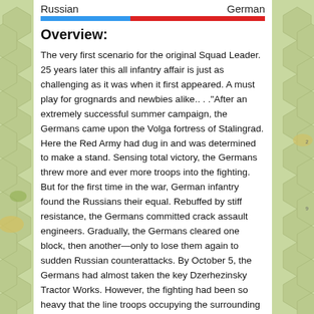Russian   German
[Figure (infographic): A two-color horizontal bar indicating sides: blue for Russian (~40%) and red for German (~60%)]
Overview:
The very first scenario for the original Squad Leader. 25 years later this all infantry affair is just as challenging as it was when it first appeared. A must play for grognards and newbies alike.. . ."After an extremely successful summer campaign, the Germans came upon the Volga fortress of Stalingrad. Here the Red Army had dug in and was determined to make a stand. Sensing total victory, the Germans threw more and ever more troops into the fighting. But for the first time in the war, German infantry found the Russians their equal. Rebuffed by stiff resistance, the Germans committed crack assault engineers. Gradually, the Germans cleared one block, then another—only to lose them again to sudden Russian counterattacks. By October 5, the Germans had almost taken the key Dzerhezinsky Tractor Works. However, the fighting had been so heavy that the line troops occupying the surrounding area were